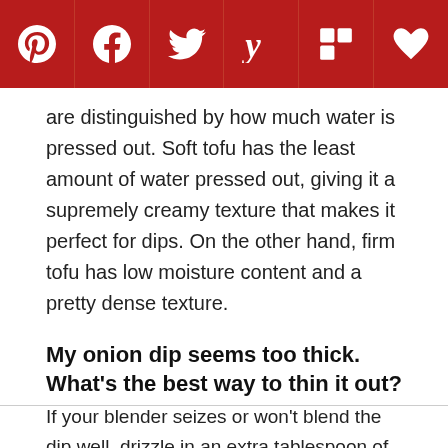[Figure (other): Social sharing toolbar with icons for Pinterest, Facebook, Twitter, Yummly, Flipboard, and a heart/save button on a dark red background]
are distinguished by how much water is pressed out. Soft tofu has the least amount of water pressed out, giving it a supremely creamy texture that makes it perfect for dips. On the other hand, firm tofu has low moisture content and a pretty dense texture.
My onion dip seems too thick. What's the best way to thin it out?
If your blender seizes or won't blend the dip well, drizzle in an extra tablespoon of lemon juice to allow it to blend smoothly.